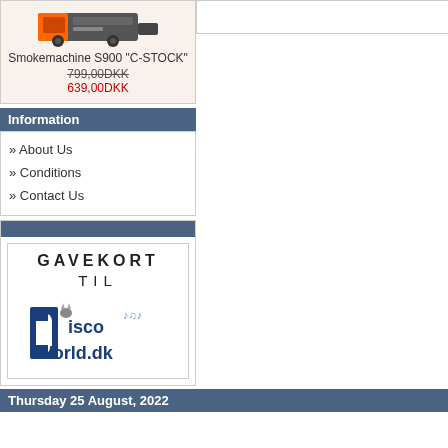[Figure (illustration): Smoke machine product image (S900)]
Smokemachine S900 "C-STOCK"
799,00DKK (strikethrough original price) 639,00DKK (sale price in red)
Information
» About Us
» Conditions
» Contact Us
[Figure (logo): Gavekort til DiscoWorld.dk gift card advertisement with logo]
Thursday 25 August, 2022